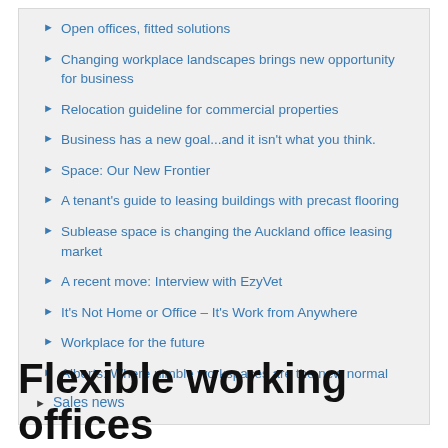Open offices, fitted solutions
Changing workplace landscapes brings new opportunity for business
Relocation guideline for commercial properties
Business has a new goal...and it isn't what you think.
Space: Our New Frontier
A tenant's guide to leasing buildings with precast flooring
Sublease space is changing the Auckland office leasing market
A recent move: Interview with EzyVet
It's Not Home or Office – It's Work from Anywhere
Workplace for the future
Alberts: Where nimble workspaces are the new normal
Sales news
Flexible working offices